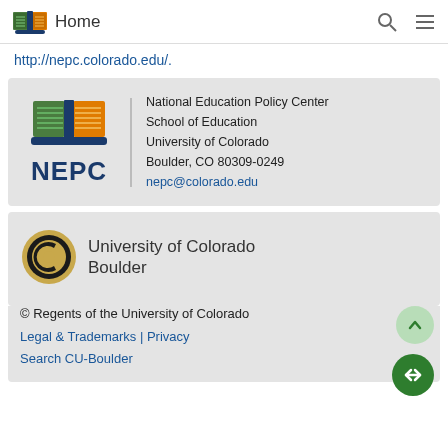Home
http://nepc.colorado.edu/.
[Figure (logo): NEPC logo with open book graphic and text 'NEPC' beside contact info: National Education Policy Center, School of Education, University of Colorado, Boulder, CO 80309-0249, nepc@colorado.edu]
[Figure (logo): University of Colorado Boulder logo with CU emblem and text 'University of Colorado Boulder']
© Regents of the University of Colorado
Legal & Trademarks | Privacy
Search CU-Boulder